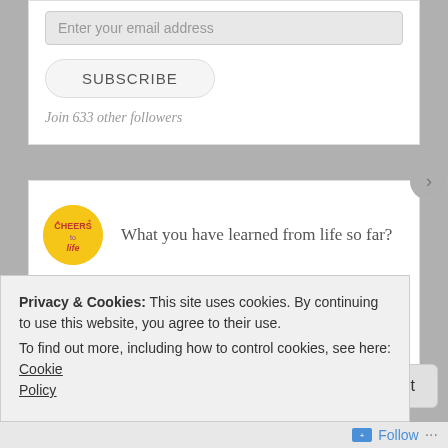Enter your email address
SUBSCRIBE
Join 633 other followers
What you have learned from life so far?
[Figure (logo): Cheers Life circular yellow logo]
How do I back up my computer files?
[Figure (logo): ACKI blog logo with computer image]
Privacy & Cookies: This site uses cookies. By continuing to use this website, you agree to their use.
To find out more, including how to control cookies, see here: Cookie Policy
Close and accept
Follow